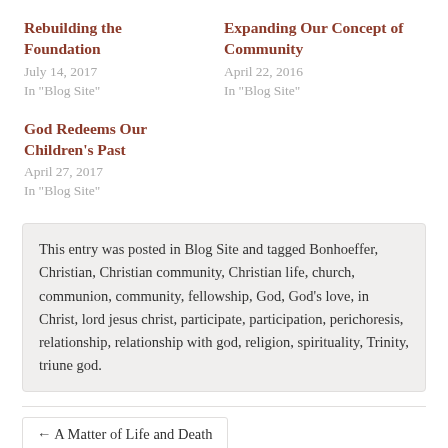Rebuilding the Foundation
July 14, 2017
In "Blog Site"
Expanding Our Concept of Community
April 22, 2016
In "Blog Site"
God Redeems Our Children's Past
April 27, 2017
In "Blog Site"
This entry was posted in Blog Site and tagged Bonhoeffer, Christian, Christian community, Christian life, church, communion, community, fellowship, God, God's love, in Christ, lord jesus christ, participate, participation, perichoresis, relationship, relationship with god, religion, spirituality, Trinity, triune god.
← A Matter of Life and Death